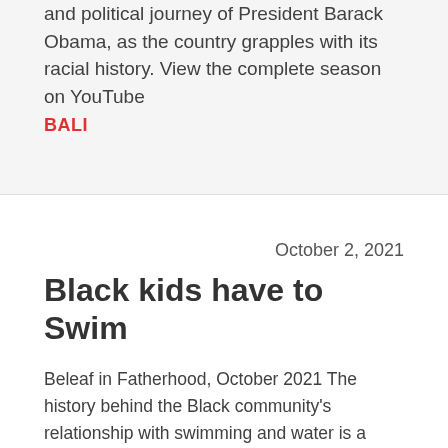and political journey of President Barack Obama, as the country grapples with its racial history. View the complete season on YouTube
BALI
October 2, 2021
Black kids have to Swim
Beleaf in Fatherhood, October 2021 The history behind the Black community's relationship with swimming and water is a painful one. We were transported against our will across seas, drowned, and kept out of water throughout our years in America. Why can't Black people swim? It's not a question of whether we can, it's a question of why they prevent us will...